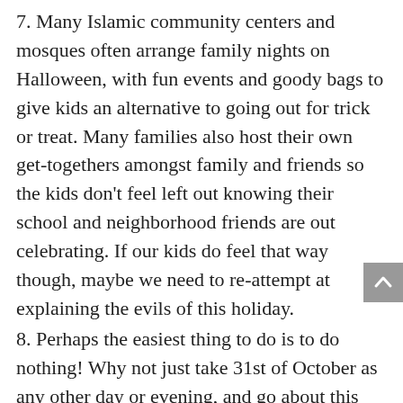7. Many Islamic community centers and mosques often arrange family nights on Halloween, with fun events and goody bags to give kids an alternative to going out for trick or treat. Many families also host their own get-togethers amongst family and friends so the kids don't feel left out knowing their school and neighborhood friends are out celebrating. If our kids do feel that way though, maybe we need to re-attempt at explaining the evils of this holiday.
8. Perhaps the easiest thing to do is to do nothing! Why not just take 31st of October as any other day or evening, and go about this day doing our routine and usual tasks or activities. It is not necessary to create another tradition to dissolve an old one. If